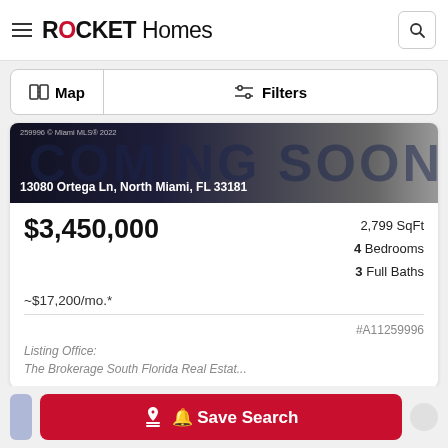ROCKET Homes
[Figure (screenshot): Rocket Homes website screenshot showing a property listing for 13080 Ortega Ln, North Miami, FL 33181 with a Coming Soon banner image]
13080 Ortega Ln, North Miami, FL 33181
$3,450,000
2,799 SqFt
4 Bedrooms
3 Full Baths
~$17,200/mo.*
#A11259996
Listing Office:
The Brokerage South Florida Real Estat...